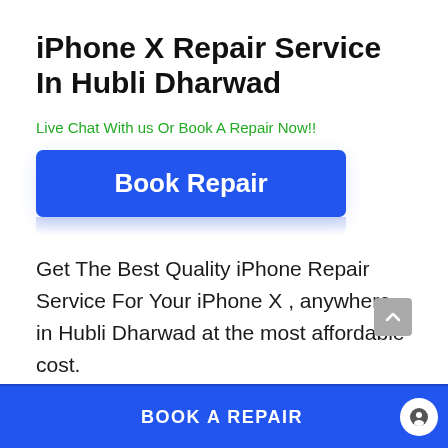iPhone X Repair Service In Hubli Dharwad
Live Chat With us Or Book A Repair Now!!
Book Repair
Get The Best Quality iPhone Repair Service For Your iPhone X , anywhere in Hubli Dharwad at the most affordable cost.
BOOK A REPAIR